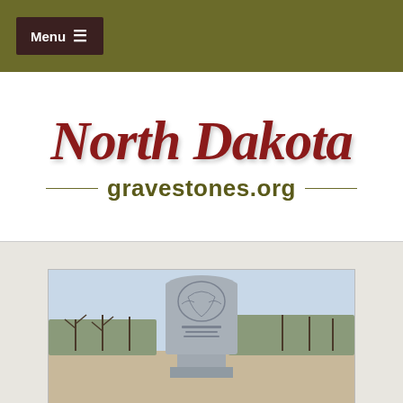Menu ≡
[Figure (logo): North Dakota gravestones.org website logo with stylized italic red text 'North Dakota' above 'gravestones.org' in olive/dark yellow with decorative lines]
[Figure (photo): Photograph of a gravestone/monument on a pedestal, outdoors with bare trees in the background]